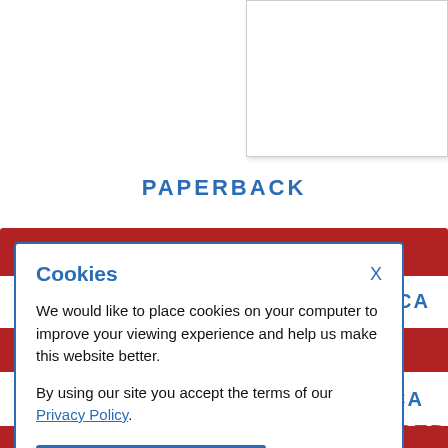PAPERBACK
[Figure (screenshot): Cookie consent modal dialog overlaying a website page showing PAPERBACK label and red navigation bars with blue text (RICA, ICA, REFERRED). The modal has title 'Cookies', body text about cookie usage, a Privacy Policy link, an X close button, and an OKAY, THANKS button.]
Cookies
We would like to place cookies on your computer to improve your viewing experience and help us make this website better.

By using our site you accept the terms of our Privacy Policy.
OKAY, THANKS